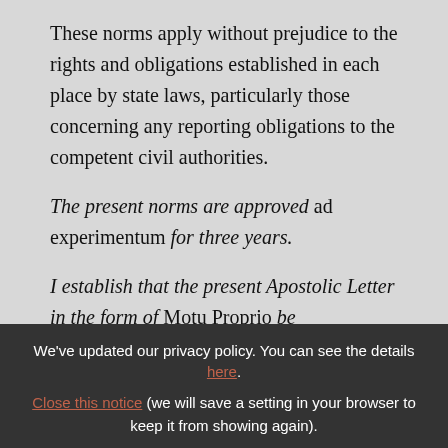These norms apply without prejudice to the rights and obligations established in each place by state laws, particularly those concerning any reporting obligations to the competent civil authorities.
The present norms are approved ad experimentum for three years.
I establish that the present Apostolic Letter in the form of Motu Proprio be promulgated by means of publication in the Osservatore
We've updated our privacy policy. You can see the details here. Close this notice (we will save a setting in your browser to keep it from showing again).